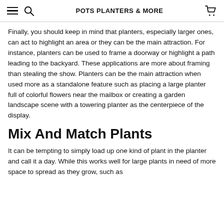POTS PLANTERS & MORE
Finally, you should keep in mind that planters, especially larger ones, can act to highlight an area or they can be the main attraction. For instance, planters can be used to frame a doorway or highlight a path leading to the backyard. These applications are more about framing than stealing the show. Planters can be the main attraction when used more as a standalone feature such as placing a large planter full of colorful flowers near the mailbox or creating a garden landscape scene with a towering planter as the centerpiece of the display.
Mix And Match Plants
It can be tempting to simply load up one kind of plant in the planter and call it a day. While this works well for large plants in need of more space to spread as they grow, such as